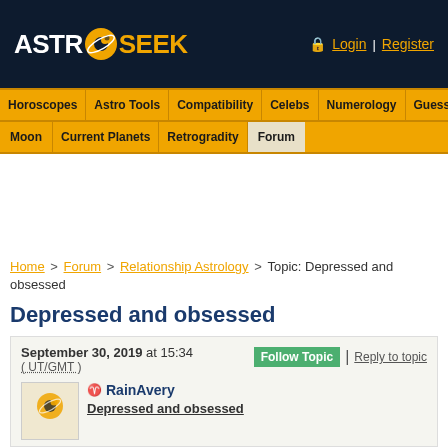ASTRO SEEK — Login | Register
Horoscopes | Astro Tools | Compatibility | Celebs | Numerology | Guess Sign | Moon | Current Planets | Retrogradity | Forum
Home > Forum > Relationship Astrology > Topic: Depressed and obsessed
Depressed and obsessed
September 30, 2019 at 15:34 (UT/GMT)
Follow Topic | Reply to topic
RainAvery
Depressed and obsessed